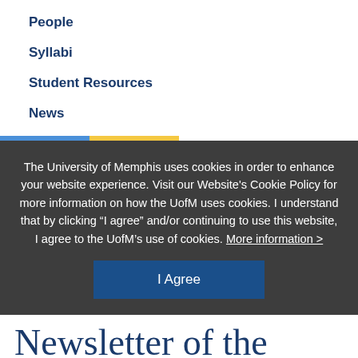People
Syllabi
Student Resources
News
The University of Memphis uses cookies in order to enhance your website experience. Visit our Website's Cookie Policy for more information on how the UofM uses cookies. I understand that by clicking “I agree” and/or continuing to use this website, I agree to the UofM’s use of cookies. More information >
I Agree
Newsletter of the